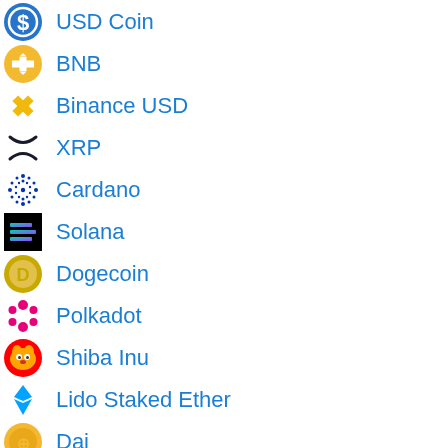USD Coin
BNB
Binance USD
XRP
Cardano
Solana
Dogecoin
Polkadot
Shiba Inu
Lido Staked Ether
Dai